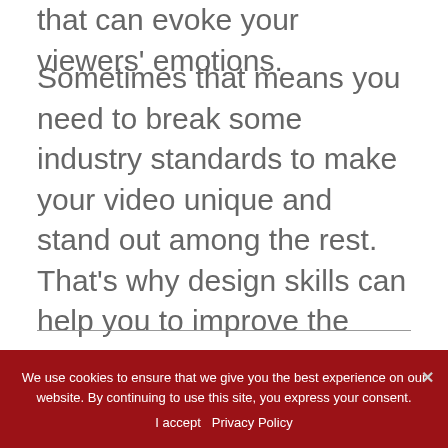that can evoke your viewers' emotions.
Sometimes that means you need to break some industry standards to make your video unique and stand out among the rest. That's why design skills can help you to improve the final results. With some design skills, you'd be able to edit videos and add the exact atmosphere that fits the videos' content while also deliver valuable information.
We use cookies to ensure that we give you the best experience on our website. By continuing to use this site, you express your consent. I accept  Privacy Policy